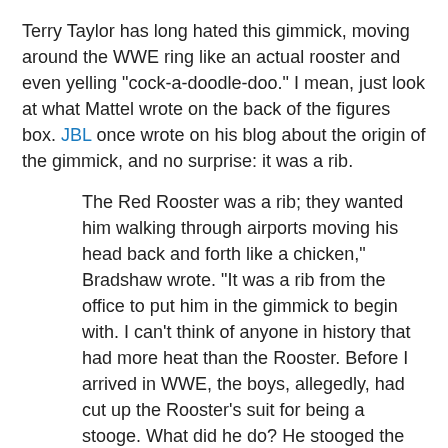Terry Taylor has long hated this gimmick, moving around the WWE ring like an actual rooster and even yelling "cock-a-doodle-doo." I mean, just look at what Mattel wrote on the back of the figures box. JBL once wrote on his blog about the origin of the gimmick, and no surprise: it was a rib.
The Red Rooster was a rib; they wanted him walking through airports moving his head back and forth like a chicken," Bradshaw wrote. "It was a rib from the office to put him in the gimmick to begin with. I can't think of anyone in history that had more heat than the Rooster. Before I arrived in WWE, the boys, allegedly, had cut up the Rooster's suit for being a stooge. What did he do? He stooged the rib, that's why he had monster heat.
So if you wanna add one of the most unpopular WWE characters of all-time to your collection, go here on Thursday.